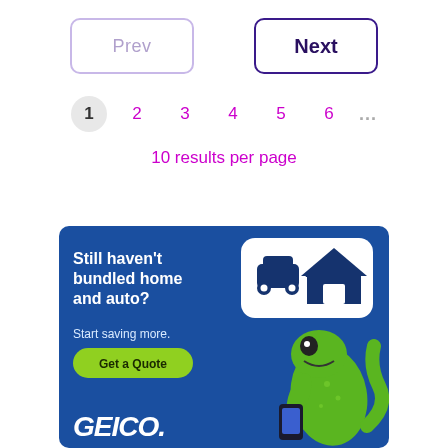Prev
Next
1  2  3  4  5  6  ...
10 results per page
[Figure (advertisement): GEICO insurance advertisement banner showing a gecko mascot holding a phone, with text 'Still haven't bundled home and auto? Start saving more.' and a green 'Get a Quote' button. Icons show a car and house. GEICO logo at bottom.]